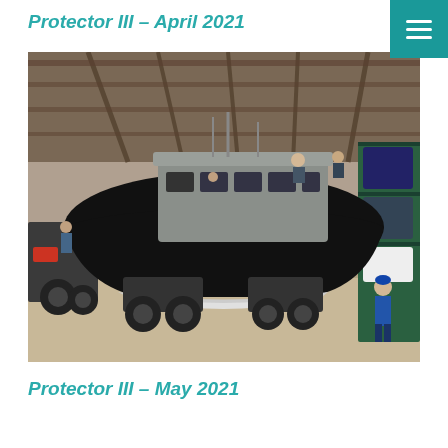Protector III – April 2021
[Figure (photo): A large rigid inflatable boat (RIB) with a grey cabin and black inflatable tube hull elevated on a boat mover/trolley inside an industrial warehouse/boatyard. Several people are visible on the boat and in the background. Shelving with boats and equipment is visible on the right side.]
Protector III – May 2021